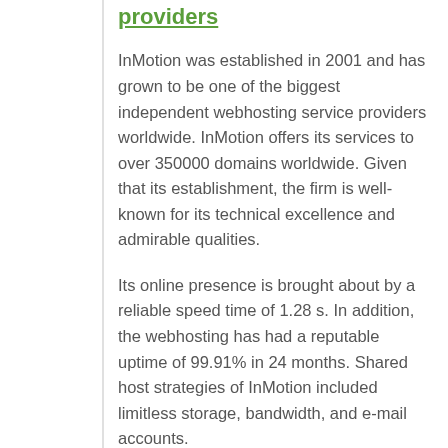providers
InMotion was established in 2001 and has grown to be one of the biggest independent webhosting service providers worldwide. InMotion offers its services to over 350000 domains worldwide. Given that its establishment, the firm is well-known for its technical excellence and admirable qualities.
Its online presence is brought about by a reliable speed time of 1.28 s. In addition, the webhosting has had a reputable uptime of 99.91% in 24 months. Shared host strategies of InMotion included limitless storage, bandwidth, and e-mail accounts.